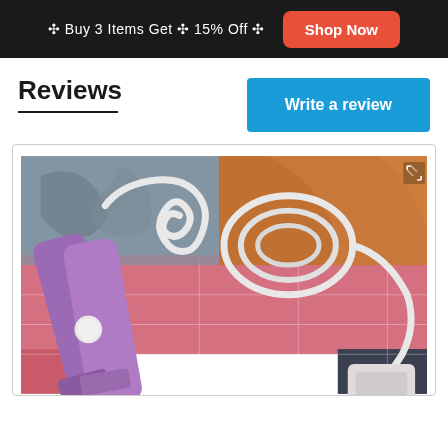✣ Buy 3 Items Get ✣ 15% Off ✣   Shop Now
Reviews
Write a review
[Figure (photo): Photo of a purple hair straightener with a white coiled power cord, placed on a colorful patchwork fabric background in pinks, oranges, grays and teal.]